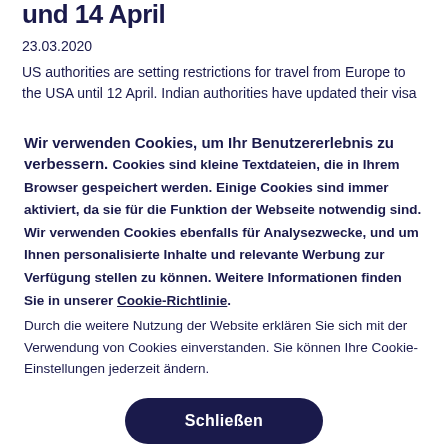und 14 April
23.03.2020
US authorities are setting restrictions for travel from Europe to the USA until 12 April. Indian authorities have updated their visa
Wir verwenden Cookies, um Ihr Benutzererlebnis zu verbessern. Cookies sind kleine Textdateien, die in Ihrem Browser gespeichert werden. Einige Cookies sind immer aktiviert, da sie für die Funktion der Webseite notwendig sind. Wir verwenden Cookies ebenfalls für Analysezwecke, und um Ihnen personalisierte Inhalte und relevante Werbung zur Verfügung stellen zu können. Weitere Informationen finden Sie in unserer Cookie-Richtlinie. Durch die weitere Nutzung der Website erklären Sie sich mit der Verwendung von Cookies einverstanden. Sie können Ihre Cookie-Einstellungen jederzeit ändern.
Schließen
Cookie-Einstellungen festlegen